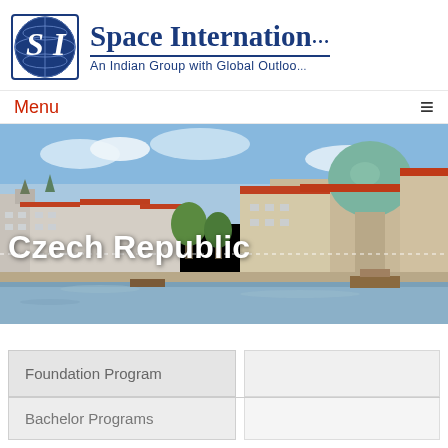[Figure (logo): Space International logo with globe and SI letters, dark navy blue]
Space International
An Indian Group with Global Outlook
Menu
[Figure (photo): Panoramic photo of Prague, Czech Republic waterfront with historic buildings, churches with domes, and river in foreground]
Czech Republic
Foundation Program
Bachelor Programs